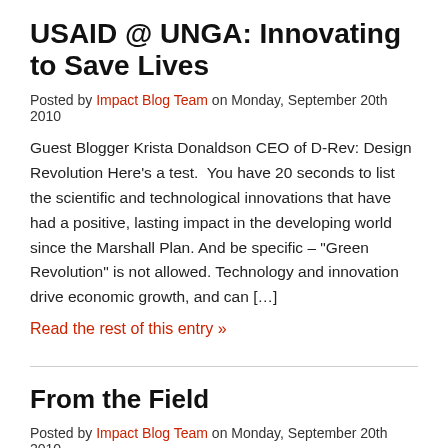USAID @ UNGA: Innovating to Save Lives
Posted by Impact Blog Team on Monday, September 20th 2010
Guest Blogger Krista Donaldson CEO of D-Rev: Design Revolution Here’s a test.  You have 20 seconds to list the scientific and technological innovations that have had a positive, lasting impact in the developing world since the Marshall Plan. And be specific – “Green Revolution” is not allowed. Technology and innovation drive economic growth, and can […]
Read the rest of this entry »
From the Field
Posted by Impact Blog Team on Monday, September 20th 2010
In Nicaragua, we are we are launching the Maternity House Project.  A network of maternity houses, located in rural